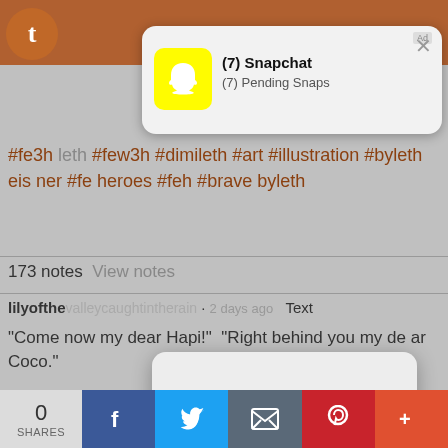[Figure (screenshot): Snapchat push notification showing '(7) Snapchat' and '(7) Pending Snaps' with yellow Snapchat logo and close X button, plus Ad label]
#fe3h leth #few3h #dimileth #art #illustration #byleth eisner #fe heroes #feh #brave byleth
173 notes  View notes
lilyofthevalleycaughtintherain · 2 days ago  Text
"Come now my dear Hapi!"  "Right behind you my dear Coco."
[Figure (screenshot): iOS-style modal dialog with text 'Click OK To Continue' and an OK button]
| 0 SHARES | Facebook | Twitter | Email | Pinterest | More |
| --- | --- | --- | --- | --- | --- |